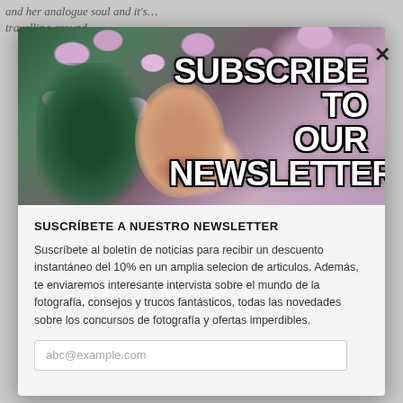and her analogue soul and it's…travelling around
[Figure (illustration): Newsletter subscribe modal overlay. Background shows a face partially hidden by purple/lilac flowers with a teal/green plant. Bold white text with black outline reads 'SUBSCRIBE TO OUR NEWSLETTER'.]
SUSCRÍBETE A NUESTRO NEWSLETTER
Suscríbete al boletín de noticias para recibir un descuento instantáneo del 10% en un amplia selecion de articulos. Además, te enviaremos interesante intervista sobre el mundo de la fotografía, consejos y trucos fantásticos, todas las novedades sobre los concursos de fotografía y ofertas imperdibles.
abc@example.com